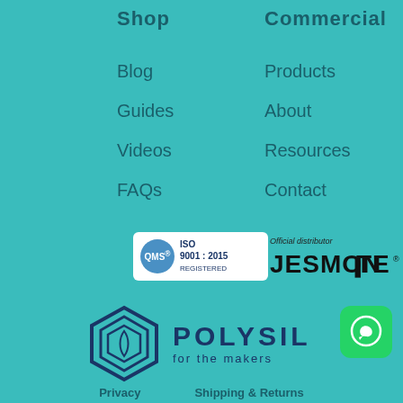Shop
Commercial
Blog
Guides
Videos
FAQs
Products
About
Resources
Contact
[Figure (logo): QMS ISO 9001:2015 Registered certification badge with circular QMS logo]
[Figure (logo): Official distributor Jesmonite Made From logo in dark/black text]
[Figure (logo): Polysil logo with geometric hexagonal icon and text 'POLYSIL for the makers' in dark navy]
[Figure (logo): WhatsApp green button icon in bottom right corner]
Privacy    Shipping & Returns